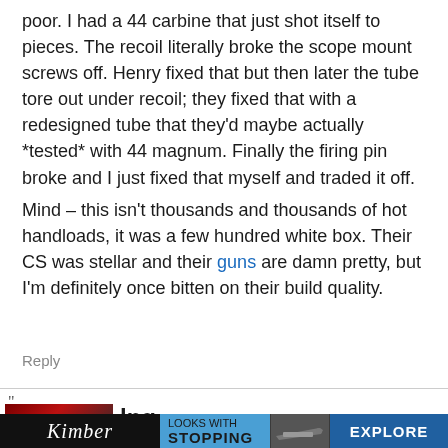poor. I had a 44 carbine that just shot itself to pieces. The recoil literally broke the scope mount screws off. Henry fixed that but then later the tube tore out under recoil; they fixed that with a redesigned tube that they'd maybe actually *tested* with 44 magnum. Finally the firing pin broke and I just fixed that myself and traded it off.
Mind – this isn't thousands and thousands of hot handloads, it was a few hundred white box. Their CS was stellar and their guns are damn pretty, but I'm definitely once bitten on their build quality.
Reply
[Figure (screenshot): Bottom partial view of a forum page showing a user avatar (dark red/black), partial username starting with 'lng', and an advertisement banner for Kimber firearms with text 'LOOKS WITH STOPPING' and 'EXPLORE' on a blue background.]